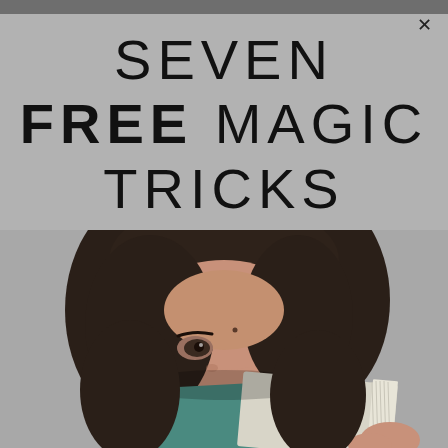SEVEN FREE MAGIC TRICKS
[Figure (photo): A young woman with dark hair peeking over a stack of books (one teal, one light blue/white) held in front of her face, against a grey background.]